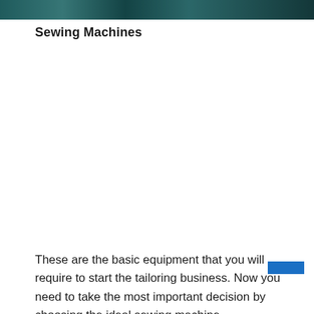[Figure (photo): Cropped top portion of a photo showing people, with teal/green tones visible at the top of the page]
Sewing Machines
These are the basic equipment that you will require to start the tailoring business. Now you need to take the most important decision by choosing the ideal sewing machine.